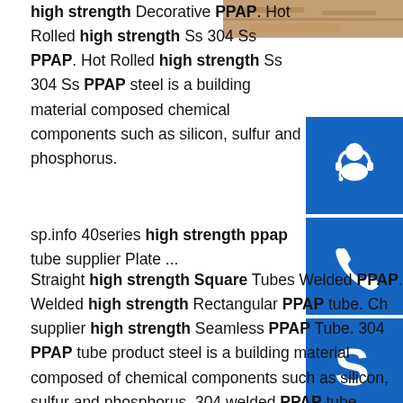[Figure (photo): Partial photo of material/product visible at top right corner]
high strength Decorative PPAP. Hot Rolled high strength Ss 304 Ss PPAP. Hot Rolled high strength Ss 304 Ss PPAP steel is a building material composed chemical components such as silicon, sulfur and phosphorus.
[Figure (illustration): Blue button with headset/customer support icon]
[Figure (illustration): Blue button with phone/call icon]
[Figure (illustration): Blue button with Skype icon]
sp.info 40series high strength ppap tube supplier Plate ...
Straight high strength Square Tubes Welded PPAP. Welded high strength Rectangular PPAP tube. Ch supplier high strength Seamless PPAP Tube. 304 PPAP tube product steel is a building material composed of chemical components such as silicon, sulfur and phosphorus. 304 welded PPAP tube product can be used F, b, z were expressed as boiling steel, semi-static steel, killed steel.
sp.info Preferential supply prime quality high strength ppap from.